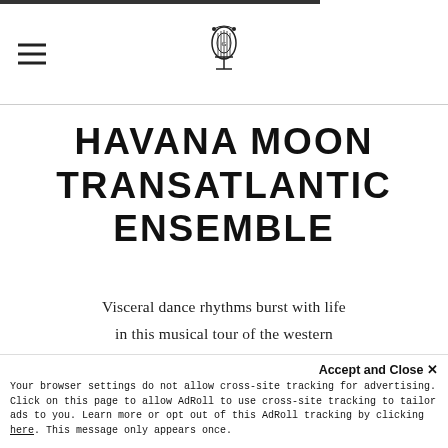Havana Moon Transatlantic Ensemble — navigation header with logo
HAVANA MOON TRANSATLANTIC ENSEMBLE
Visceral dance rhythms burst with life in this musical tour of the western hemisphere, illuminated at turns by the electrifying and mellow sounds
Accept and Close ✕ Your browser settings do not allow cross-site tracking for advertising. Click on this page to allow AdRoll to use cross-site tracking to tailor ads to you. Learn more or opt out of this AdRoll tracking by clicking here. This message only appears once.